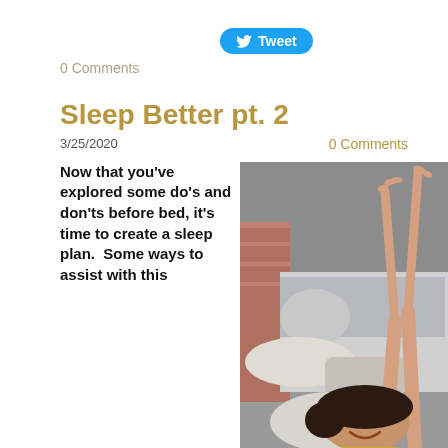[Figure (screenshot): Twitter Tweet button with bird icon, blue rounded rectangle]
0 Comments
Sleep Better pt. 2
3/25/2020
0 Comments
Now that you've explored some do's and don'ts before bed, it's time to create a sleep plan.  Some ways to assist with this
[Figure (photo): Young woman lying in bed with arms stretched up, smiling, with pillows around her]